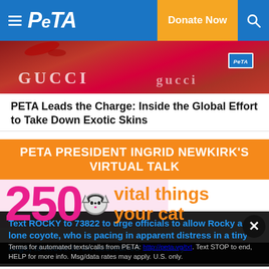PETA — Donate Now
[Figure (photo): Protest photo showing red paint on Gucci-branded items with PETA badge visible]
PETA Leads the Charge: Inside the Global Effort to Take Down Exotic Skins
[Figure (infographic): PETA President Ingrid Newkirk's Virtual Talk — 250 vital things your cat banner with cat image]
Text ROCKY to 73822 to urge officials to allow Rocky a lone coyote, who is pacing in apparent distress in a tiny cage, to move to an accredited sanctuary.
Terms for automated texts/calls from PETA: http://peta.vg/txt. Text STOP to end, HELP for more info. Msg/data rates may apply. U.S. only.